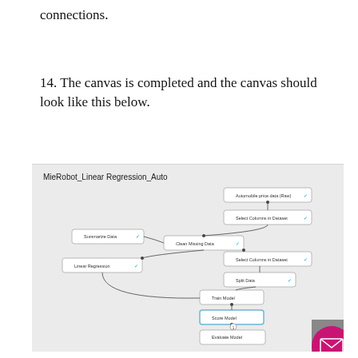connections.
14. The canvas is completed and the canvas should look like this below.
[Figure (screenshot): Screenshot of Azure ML Studio canvas titled 'MieRobot_Linear Regression_Auto' showing a machine learning pipeline with nodes: Automobile price data (Raw), Select Columns in Dataset, Summarize Data, Clean Missing Data, Select Columns in Dataset, Linear Regression, Split Data, Train Model, Score Model, Evaluate Model — connected with arrows.]